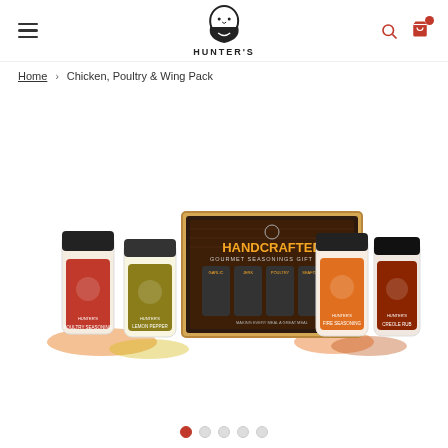HUNTER'S — navigation header with hamburger menu, logo, search and cart icons
Home › Chicken, Poultry & Wing Pack
[Figure (photo): Product photo of Hunter's Handcrafted Gourmet Seasonings Gift Pack — Chicken, Poultry & Wing Pack. Shows a boxed gift set with four seasoning bottles arranged left and right of the box. The box label reads 'HANDCRAFTED GOURMET SEASONINGS GIFT PACK'. Spice powders in orange and yellow are spread around the bottles.]
Image carousel dots: 1 active (red), 4 inactive (grey)